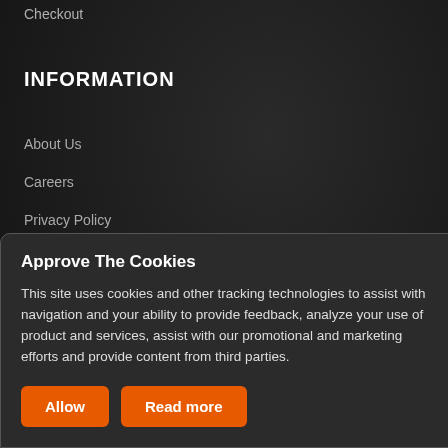Checkout
INFORMATION
About Us
Careers
Privacy Policy
Terms & Conditions
Watch.   Share.   Follow.   Like.
Approve The Cookies
This site uses cookies and other tracking technologies to assist with navigation and your ability to provide feedback, analyze your use of product and services, assist with our promotional and marketing efforts and provide content from third parties.
Allow    Read more